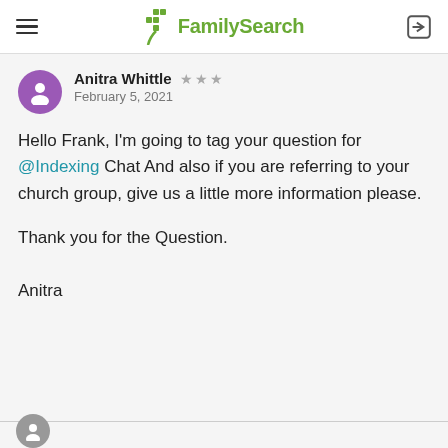FamilySearch
Anitra Whittle ★★★ February 5, 2021
Hello Frank, I'm going to tag your question for @Indexing Chat And also if you are referring to your church group, give us a little more information please.

Thank you for the Question.

Anitra